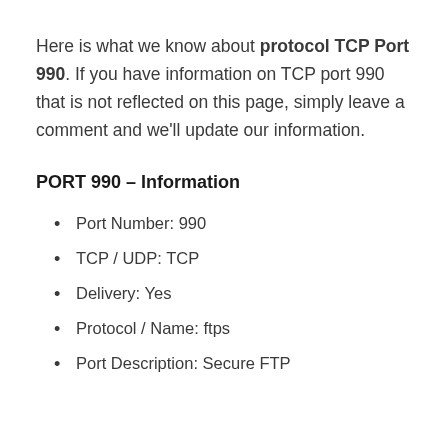Here is what we know about protocol TCP Port 990. If you have information on TCP port 990 that is not reflected on this page, simply leave a comment and we'll update our information.
PORT 990 – Information
Port Number: 990
TCP / UDP: TCP
Delivery: Yes
Protocol / Name: ftps
Port Description: Secure FTP